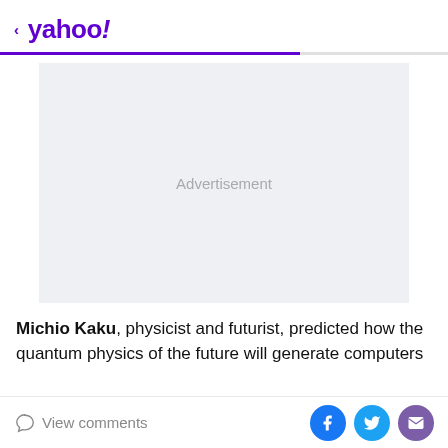< yahoo!
[Figure (other): Advertisement placeholder box with light blue-gray background and 'Advertisement' text centered]
Michio Kaku, physicist and futurist, predicted how the quantum physics of the future will generate computers